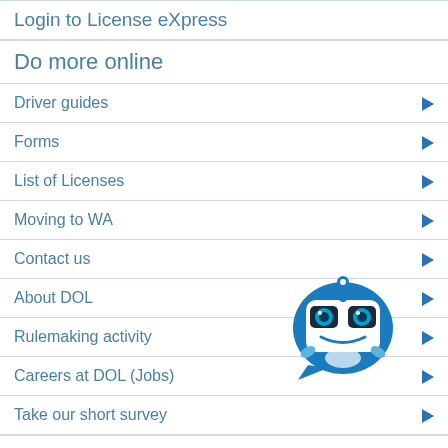Login to License eXpress
Do more online
Driver guides
Forms
List of Licenses
Moving to WA
Contact us
About DOL
Rulemaking activity
Careers at DOL (Jobs)
[Figure (illustration): Blue robot/chatbot mascot icon with speech bubble]
Take our short survey
▲ Top